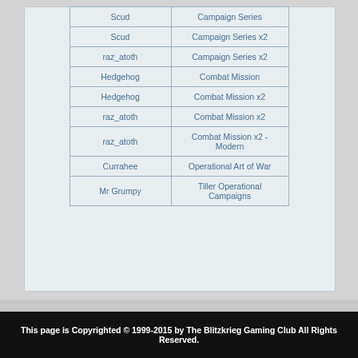| Scud | Campaign Series |
| Scud | Campaign Series x2 |
| raz_atoth | Campaign Series x2 |
| Hedgehog | Combat Mission |
| Hedgehog | Combat Mission x2 |
| raz_atoth | Combat Mission x2 |
| raz_atoth | Combat Mission x2 - Modern |
| Currahee | Operational Art of War |
| Mr Grumpy | Tiller Operational Campaigns |
This page is Copyrighted © 1999-2015 by The Blitzkrieg Gaming Club All Rights Reserved.